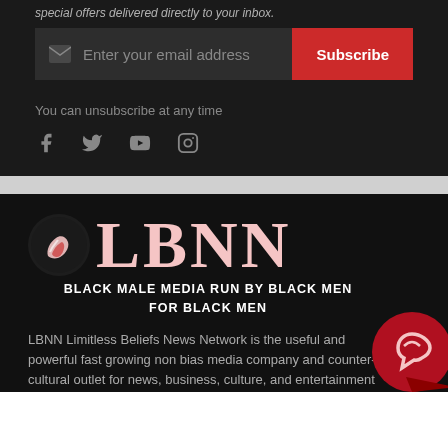special offers delivered directly to your inbox.
[Figure (screenshot): Email subscription form with dark background, envelope icon placeholder, 'Enter your email address' input, and red 'Subscribe' button]
You can unsubscribe at any time
[Figure (illustration): Social media icons: Facebook, Twitter, YouTube, Instagram]
[Figure (logo): LBNN logo with stylized circular icon and large serif text 'LBNN']
BLACK MALE MEDIA RUN BY BLACK MEN FOR BLACK MEN
LBNN Limitless Beliefs News Network is the useful and powerful fast growing non bias media company and counter-cultural outlet for news, business, culture, and entertainment with great attention to details, incredible featur…